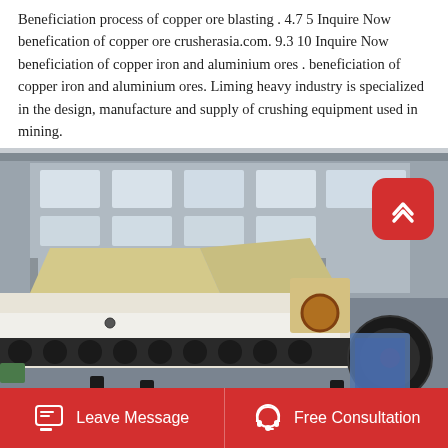Beneficiation process of copper ore blasting . 4.7 5 Inquire Now benefication of copper ore crusherasia.com. 9.3 10 Inquire Now beneficiation of copper iron and aluminium ores . beneficiation of copper iron and aluminium ores. Liming heavy industry is specialized in the design, manufacture and supply of crushing equipment used in mining.
[Figure (photo): Industrial crushing equipment in a factory setting. Large jaw crusher machinery with rollers and conveyor components visible in the foreground. Grey concrete factory building with large windows in the background.]
Leave Message   Free Consultation